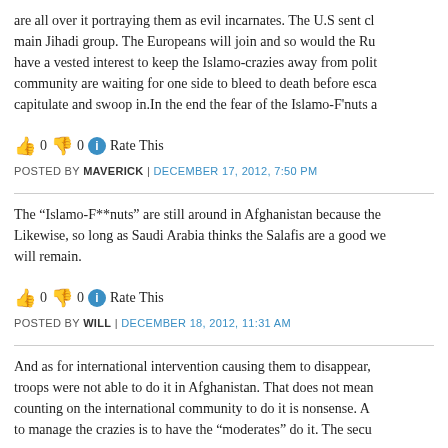are all over it portraying them as evil incarnates. The U.S sent cl... main Jihadi group. The Europeans will join and so would the Ru... have a vested interest to keep the Islamo-crazies away from polit... community are waiting for one side to bleed to death before esca... capitulate and swoop in.In the end the fear of the Islamo-F'nuts a...
👍 0 👎 0 ℹ Rate This
POSTED BY MAVERICK | DECEMBER 17, 2012, 7:50 PM
The "Islamo-F**nuts" are still around in Afghanistan because the... Likewise, so long as Saudi Arabia thinks the Salafis are a good we... will remain.
👍 0 👎 0 ℹ Rate This
POSTED BY WILL | DECEMBER 18, 2012, 11:31 AM
And as for international intervention causing them to disappear,... troops were not able to do it in Afghanistan. That does not mean... counting on the international community to do it is nonsense. A... to manage the crazies is to have the "moderates" do it. The secu...